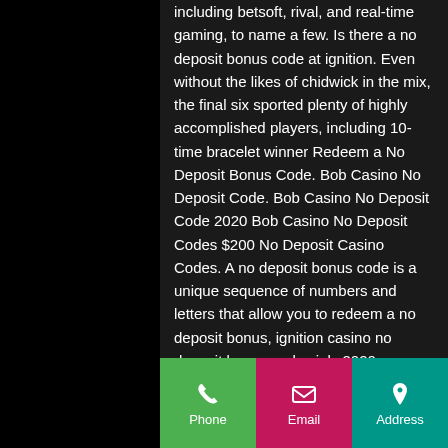including betsoft, rival, and real-time gaming, to name a few. Is there a no deposit bonus code at ignition. Even without the likes of chidwick in the mix, the final six sported plenty of highly accomplished players, including 10-time bracelet winner Redeem a No Deposit Bonus Code. Bob Casino No Deposit Code. Bob Casino No Deposit Code 2020 Bob Casino No Deposit Codes $200 No Deposit Casino Codes. A no deposit bonus code is a unique sequence of numbers and letters that allow you to redeem a no deposit bonus, ignition casino no deposit bonus codes july 2020.
Today's winners:
Gem Forest - 615 ltc
Million Cents - 653.6 dog
Golden Tour - 50.1 usdt
[Figure (infographic): App footer bar with three colored buttons: Phone (green), Email (magenta/pink), Address (teal), each with an icon and label]